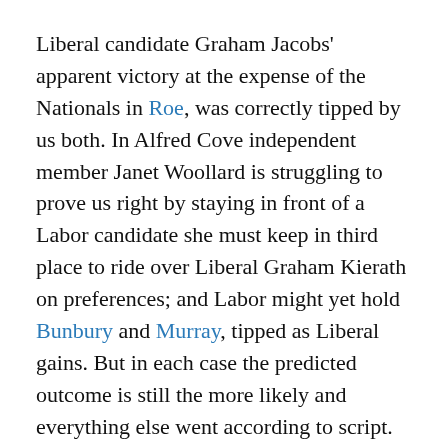Liberal candidate Graham Jacobs' apparent victory at the expense of the Nationals in Roe, was correctly tipped by us both. In Alfred Cove independent member Janet Woollard is struggling to prove us right by staying in front of a Labor candidate she must keep in third place to ride over Liberal Graham Kierath on preferences; and Labor might yet hold Bunbury and Murray, tipped as Liberal gains. But in each case the predicted outcome is still the more likely and everything else went according to script.
The key to Labor's win was a strong performance in the northern suburbs marginals, which constitute a collective